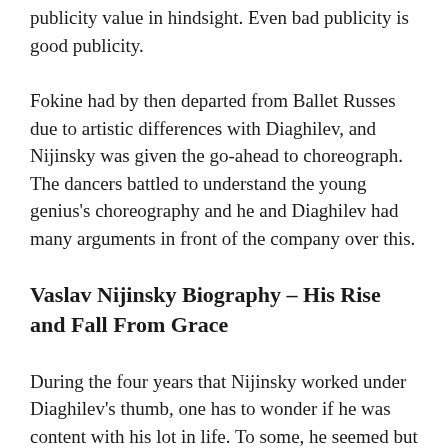publicity value in hindsight. Even bad publicity is good publicity.
Fokine had by then departed from Ballet Russes due to artistic differences with Diaghilev, and Nijinsky was given the go-ahead to choreograph. The dancers battled to understand the young genius's choreography and he and Diaghilev had many arguments in front of the company over this.
Vaslav Nijinsky Biography – His Rise and Fall From Grace
During the four years that Nijinsky worked under Diaghilev's thumb, one has to wonder if he was content with his lot in life. To some, he seemed but a puppet of a master manipulator. He was constantly on the move through a world of posh